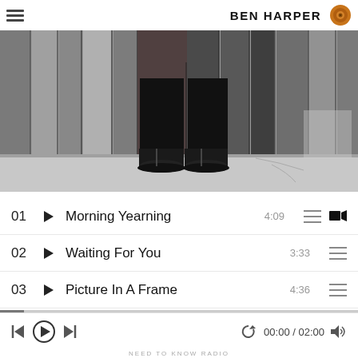BEN HARPER
[Figure (photo): Black and white photo showing the lower body of a person standing in front of wooden planks/fence, wearing dark pants and heavy boots with buckles]
01 ▶ Morning Yearning 4:09
02 ▶ Waiting For You 3:33
03 ▶ Picture In A Frame 4:36
04 ▶ Never Leave Lonely Alone 2:51
00:00 / 02:00
NEED TO KNOW RADIO